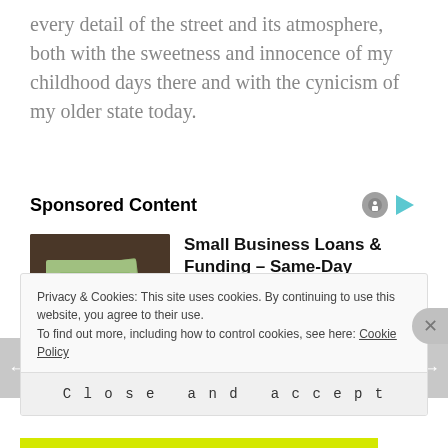every detail of the street and its atmosphere, both with the sweetness and innocence of my childhood days there and with the cynicism of my older state today.
Sponsored Content
[Figure (photo): Hands holding a stack of US dollar bills]
Small Business Loans & Funding – Same-Day Decisions
Business Loans | Search Ads
Privacy & Cookies: This site uses cookies. By continuing to use this website, you agree to their use.
To find out more, including how to control cookies, see here: Cookie Policy
Close and accept